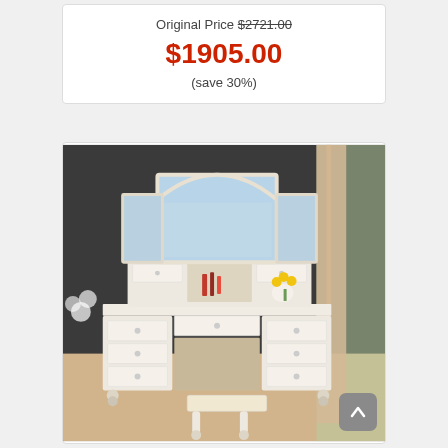Original Price $2721.00
$1905.00
(save 30%)
[Figure (photo): White vanity dresser with tri-fold mirror and matching stool, displayed in a room with dark walls. The vanity has multiple drawers and a padded stool with bun feet.]